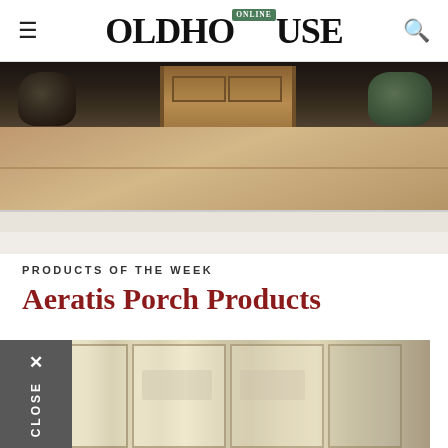OLDHOUSE ONLINE
[Figure (photo): Porch floor and entrance of an old house with wooden front door, decorative urns, and terracotta-colored porch flooring with white trim step]
PRODUCTS OF THE WEEK
Aeratis Porch Products
[Figure (photo): Interior kitchen/dining room with cream-colored built-in cabinetry with glass doors displaying dishware, and dark hardware]
CLOSE ✕